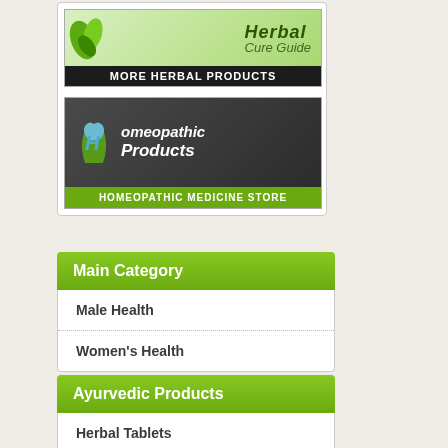[Figure (logo): Herbal Cure Guide banner with green leaves and 'MORE HERBAL PRODUCTS' text on dark background]
[Figure (logo): Homeopathic Products banner with blue H logo and green hand on dark grey background, 'HOMEOPATHIC MEDICINE STORE' label]
Main Category
Male Health
Women's Health
Ayurvedic Products
Herbal Tablets
Bhasmas